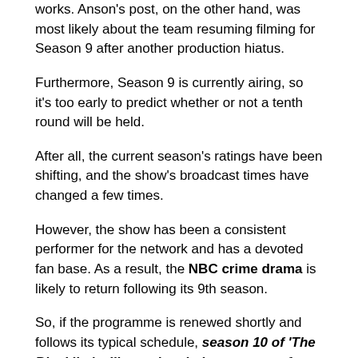works. Anson's post, on the other hand, was most likely about the team resuming filming for Season 9 after another production hiatus.
Furthermore, Season 9 is currently airing, so it's too early to predict whether or not a tenth round will be held.
After all, the current season's ratings have been shifting, and the show's broadcast times have changed a few times.
However, the show has been a consistent performer for the network and has a devoted fan base. As a result, the NBC crime drama is likely to return following its 9th season.
So, if the programme is renewed shortly and follows its typical schedule, season 10 of ‘The Blacklist’ will premiere in last quarter of 2022.